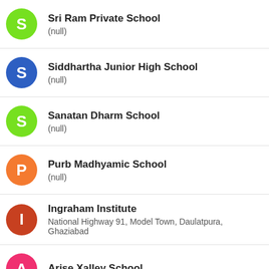Sri Ram Private School
(null)
Siddhartha Junior High School
(null)
Sanatan Dharm School
(null)
Purb Madhyamic School
(null)
Ingraham Institute
National Highway 91, Model Town, Daulatpura, Ghaziabad
Arise Xalley School